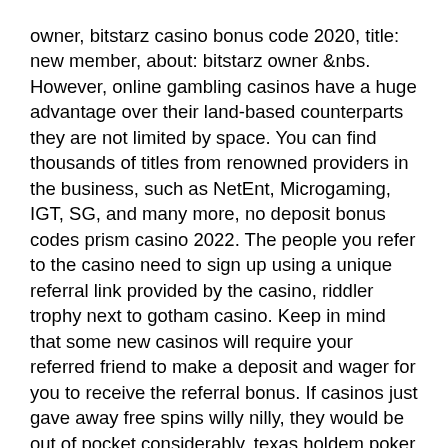owner, bitstarz casino bonus code 2020, title: new member, about: bitstarz owner &nbs. However, online gambling casinos have a huge advantage over their land-based counterparts they are not limited by space. You can find thousands of titles from renowned providers in the business, such as NetEnt, Microgaming, IGT, SG, and many more, no deposit bonus codes prism casino 2022. The people you refer to the casino need to sign up using a unique referral link provided by the casino, riddler trophy next to gotham casino. Keep in mind that some new casinos will require your referred friend to make a deposit and wager for you to receive the referral bonus. If casinos just gave away free spins willy nilly, they would be out of pocket considerably, texas holdem poker check raise. Instant Play with the Latest 888 Casino Bonus Codes and Offers in 2021. If you are looking for the best online mobile Slots sites, that Pokie players in the United